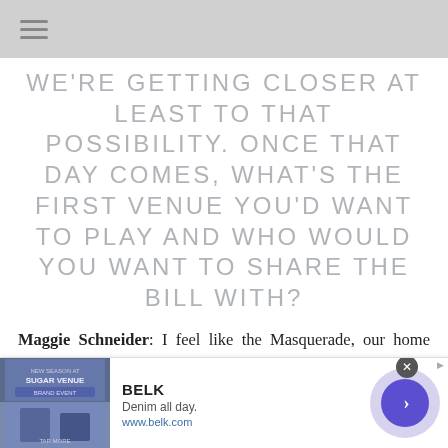Navigation menu
WE'RE GETTING CLOSER AT LEAST TO THAT POSSIBILITY. ONCE THAT DAY COMES, WHAT'S THE FIRST VENUE YOU'D WANT TO PLAY AND WHO WOULD YOU WANT TO SHARE THE BILL WITH?
Maggie Schneider: I feel like the Masquerade, our home venue in Atlanta, would be the venue for sure. We all met there, and that's our home away from home, so I think for both of us it would be the…
[Figure (other): Advertisement banner for BELK featuring denim clothing images, text 'Denim all day. www.belk.com' and a purple circular arrow button]